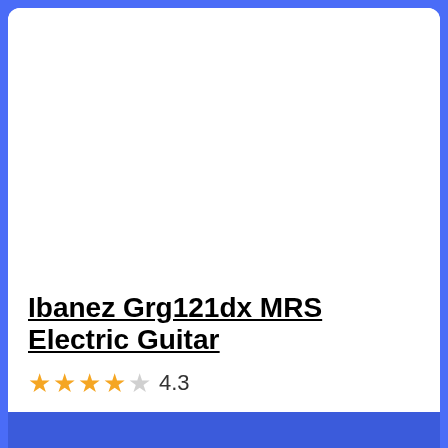[Figure (photo): Product image area — white blank space where guitar photo would appear]
Ibanez Grg121dx MRS Electric Guitar
★★★★☆ 4.3